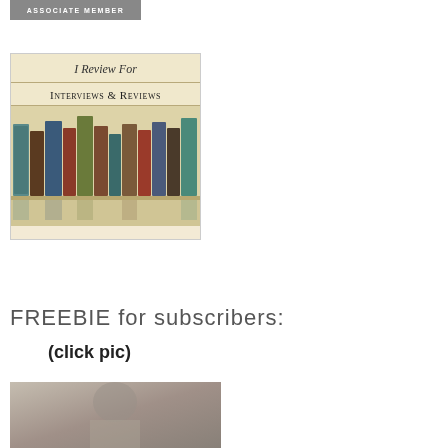[Figure (logo): Associate Member badge/banner with dark gray background and white uppercase text reading ASSOCIATE MEMBER]
[Figure (illustration): Book review badge showing 'I Review For' text on cream background with 'INTERVIEWS & REVIEWS' below and a row of colorful books on a shelf]
FREEBIE for subscribers:
(click pic)
[Figure (photo): Black and white photograph, partially visible at bottom of page]